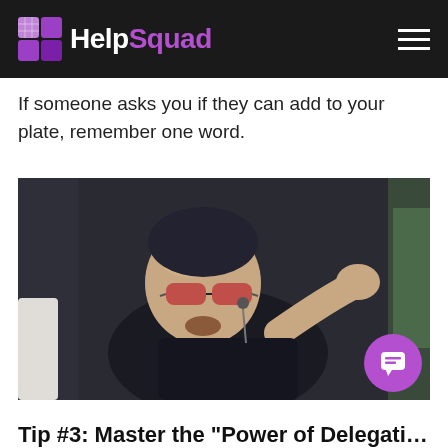HelpSquad
If someone asks you if they can add to your plate, remember one word.
[Figure (photo): Photo of a man in sunglasses with a gesture/shrug expression, appearing at what looks like a sports event, used as a meme image.]
Tip #3: Master the "Power of Delegation"